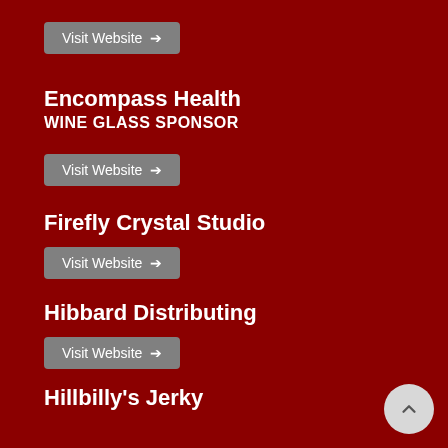Visit Website →
Encompass Health
WINE GLASS SPONSOR
Visit Website →
Firefly Crystal Studio
Visit Website →
Hibbard Distributing
Visit Website →
Hillbilly's Jerky
Visit Website →
Hometown Co